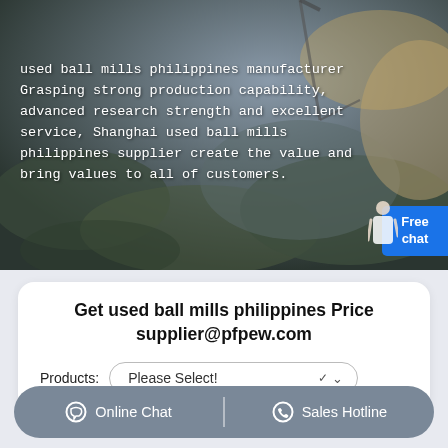[Figure (photo): Aerial view of a mining or quarry site with dark rocky terrain, cranes and equipment visible. Text overlay describes used ball mills philippines manufacturer.]
used ball mills philippines manufacturer Grasping strong production capability, advanced research strength and excellent service, Shanghai used ball mills philippines supplier create the value and bring values to all of customers.
Get used ball mills philippines Price
supplier@pfpew.com
Products: Please Select!
Online Chat | Sales Hotline